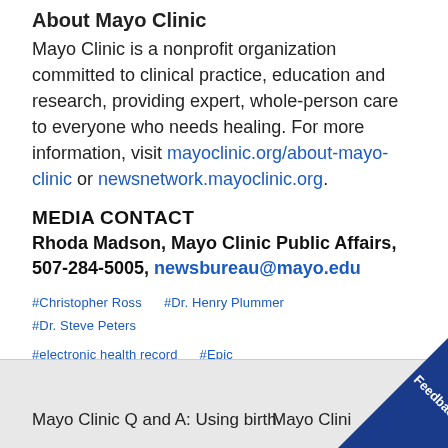About Mayo Clinic
Mayo Clinic is a nonprofit organization committed to clinical practice, education and research, providing expert, whole-person care to everyone who needs healing. For more information, visit mayoclinic.org/about-mayo-clinic or newsnetwork.mayoclinic.org.
MEDIA CONTACT
Rhoda Madson, Mayo Clinic Public Affairs, 507-284-5005, newsbureau@mayo.edu
#Christopher Ross
#Dr. Henry Plummer
#Dr. Steve Peters
#electronic health record
#Epic
#Mayo Clinic Health System
#Minnesota News Releases
#News Releases
Mayo Clinic Q and A: Using birth    Mayo Clinic